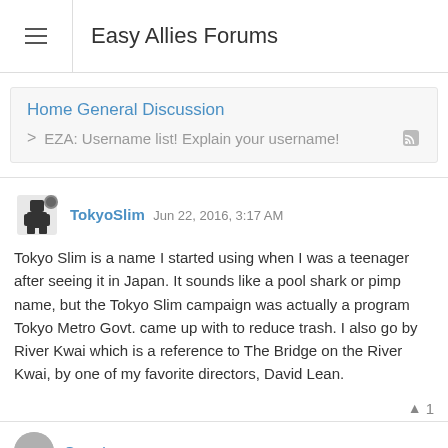Easy Allies Forums
Home General Discussion
> EZA: Username list! Explain your username!
TokyoSlim Jun 22, 2016, 3:17 AM
Tokyo Slim is a name I started using when I was a teenager after seeing it in Japan. It sounds like a pool shark or pimp name, but the Tokyo Slim campaign was actually a program Tokyo Metro Govt. came up with to reduce trash. I also go by River Kwai which is a reference to The Bridge on the River Kwai, by one of my favorite directors, David Lean.
▲ 1
Guest Jun 22, 2016, 3:19 AM